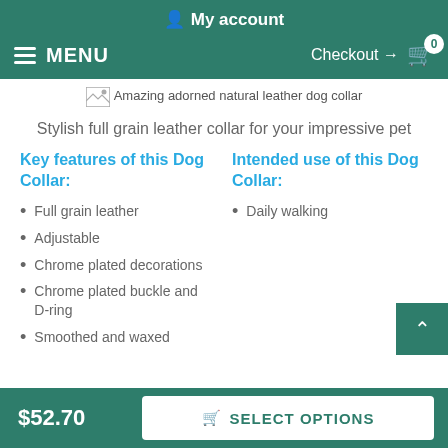My account
MENU  Checkout → 0
[Figure (photo): Amazing adorned natural leather dog collar product image placeholder]
Stylish full grain leather collar for your impressive pet
Key features of this Dog Collar:
Intended use of this Dog Collar:
Full grain leather
Adjustable
Chrome plated decorations
Chrome plated buckle and D-ring
Smoothed and waxed
Daily walking
$52.70  SELECT OPTIONS